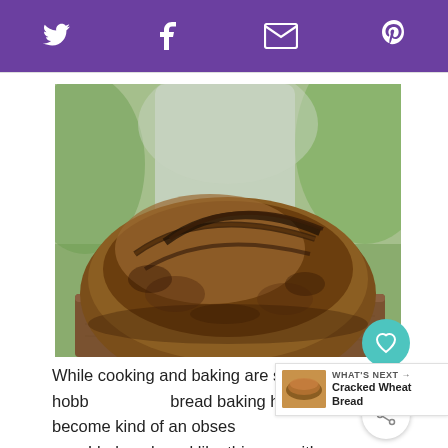Social share bar with Twitter, Facebook, Email, Pinterest icons
[Figure (photo): A round artisan sourdough loaf with a dark, scored crust sitting on a wooden cutting board, with blurred green foliage in the background]
While cooking and baking are serious hobb... bread baking has become kind of an obses... I bake a bread like this one with success, I get a little
WHAT'S NEXT → Cracked Wheat Bread